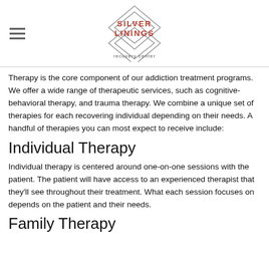Silver Linings recovery center
Therapy is the core component of our addiction treatment programs. We offer a wide range of therapeutic services, such as cognitive-behavioral therapy, and trauma therapy. We combine a unique set of therapies for each recovering individual depending on their needs. A handful of therapies you can most expect to receive include:
Individual Therapy
Individual therapy is centered around one-on-one sessions with the patient. The patient will have access to an experienced therapist that they’ll see throughout their treatment. What each session focuses on depends on the patient and their needs.
Family Therapy